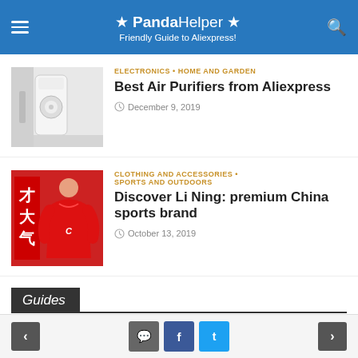★ PandaHelper ★ Friendly Guide to Aliexpress!
ELECTRONICS • HOME AND GARDEN
Best Air Purifiers from Aliexpress
December 9, 2019
[Figure (photo): White air purifier appliance]
CLOTHING AND ACCESSORIES • SPORTS AND OUTDOORS
Discover Li Ning: premium China sports brand
October 13, 2019
[Figure (photo): Person wearing red Li Ning hoodie with Chinese characters]
Guides
Aliexpress Tutorials
Buying Phone from China